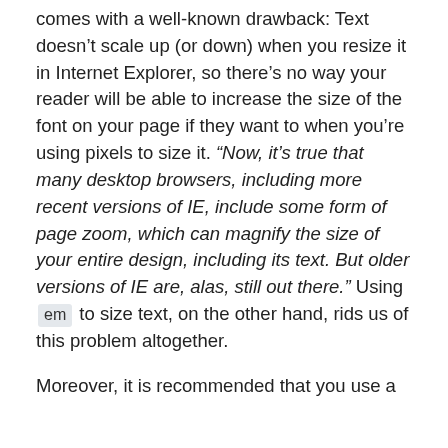comes with a well-known drawback: Text doesn't scale up (or down) when you resize it in Internet Explorer, so there's no way your reader will be able to increase the size of the font on your page if they want to when you're using pixels to size it. “Now, it’s true that many desktop browsers, including more recent versions of IE, include some form of page zoom, which can magnify the size of your entire design, including its text. But older versions of IE are, alas, still out there.” Using em to size text, on the other hand, rids us of this problem altogether.
Moreover, it is recommended that you use a